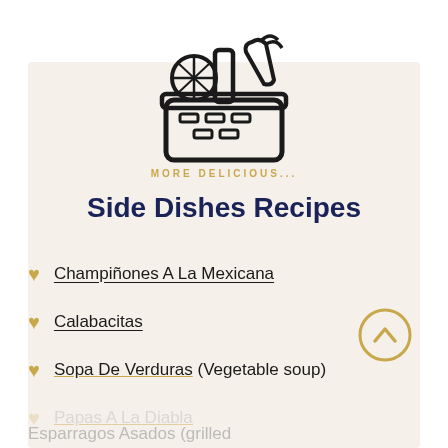[Figure (illustration): Icon of a grocery/food basket with vegetables and a lemon slice sticking out, in black outline style. Below the basket is the text 'MORE DELICIOUS...' in gold/yellow spaced letters.]
Side Dishes Recipes
Champiñones A La Mexicana
Calabacitas
Sopa De Verduras (Vegetable soup)
Papas A La Diabla
Esparragos Asados (grilled